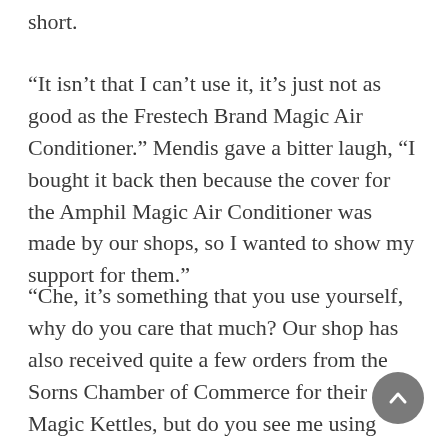short.
“It isn’t that I can’t use it, it’s just not as good as the Frestech Brand Magic Air Conditioner.” Mendis gave a bitter laugh, “I bought it back then because the cover for the Amphil Magic Air Conditioner was made by our shops, so I wanted to show my support for them.”
“Che, it’s something that you use yourself, why do you care that much? Our shop has also received quite a few orders from the Sorns Chamber of Commerce for their Magic Kettles, but do you see me using their Magic Kettle in my house?”